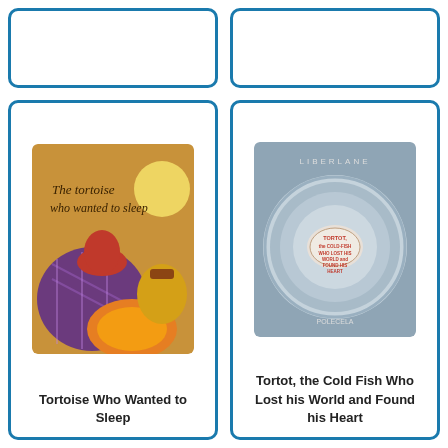[Figure (photo): Partial top-left book card (cut off at top)]
[Figure (photo): Partial top-right book card (cut off at top)]
[Figure (photo): Book cover: The Tortoise Who Wanted to Sleep - illustrated children's book showing tortoises in colorful clothing]
Tortoise Who Wanted to Sleep
[Figure (photo): Book cover: Tortot, the Cold Fish Who Lost his World and Found his Heart - circular metallic design]
Tortot, the Cold Fish Who Lost his World and Found his Heart
[Figure (photo): Book cover: The Town in the Snuff-Box / Old Father Frost by Vladimir Odoyevsky]
[Figure (photo): Book cover: The Town Country Mouse and Mouse]